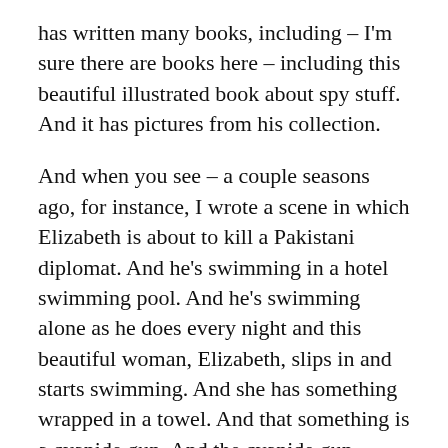has written many books, including – I'm sure there are books here – including this beautiful illustrated book about spy stuff. And it has pictures from his collection.
And when you see – a couple seasons ago, for instance, I wrote a scene in which Elizabeth is about to kill a Pakistani diplomat. And he's swimming in a hotel swimming pool. And he's swimming alone as he does every night and this beautiful woman, Elizabeth, slips in and starts swimming. And she has something wrapped in a towel. And that something is a cyanide gun. And the cyanide gun mixes cyanide with some vapor to form cyanide gas. And then she can push him under the water and when he comes up for a gulp